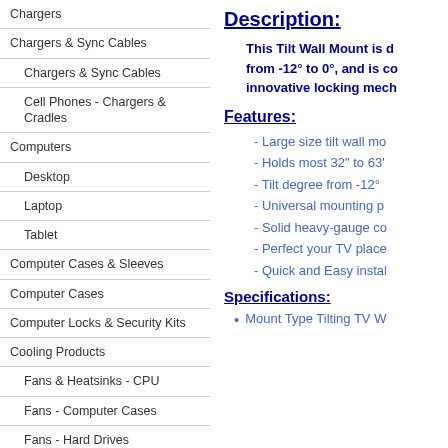Chargers
Chargers & Sync Cables
Chargers & Sync Cables
Cell Phones - Chargers & Cradles
Computers
Desktop
Laptop
Tablet
Computer Cases & Sleeves
Computer Cases
Computer Locks & Security Kits
Cooling Products
Fans & Heatsinks - CPU
Fans - Computer Cases
Fans - Hard Drives
Description:
This Tilt Wall Mount is d from -12° to 0°, and is co innovative locking mech
Features:
- Large size tilt wall mo
- Holds most 32" to 63'
- Tilt degree from -12°
- Universal mounting p
- Solid heavy-gauge co
- Perfect your TV place
- Quick and Easy instal
Specifications:
Mount Type Tilting TV W